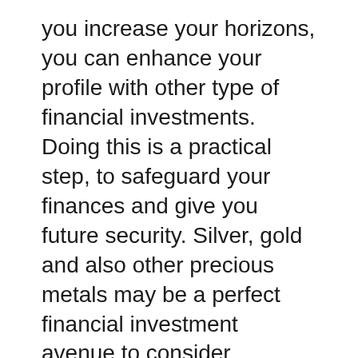you increase your horizons, you can enhance your profile with other type of financial investments. Doing this is a practical step, to safeguard your finances and give you future security. Silver, gold and also other precious metals may be a perfect financial investment avenue to consider.
Investing In Gold Etfs Uk
As a result of the boosted profile of rare-earth elements, raising varieties of companies are giving solutions. Certainly, the even more competitors there is, the even more bargains enhance for investors. However, it can be quite complicated when there are many gold investment companies to pick from. This is specifically true for